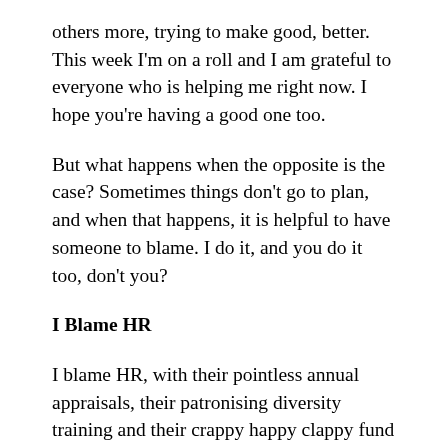others more, trying to make good, better. This week I'm on a roll and I am grateful to everyone who is helping me right now. I hope you're having a good one too.
But what happens when the opposite is the case? Sometimes things don't go to plan, and when that happens, it is helpful to have someone to blame. I do it, and you do it too, don't you?
I Blame HR
I blame HR, with their pointless annual appraisals, their patronising diversity training and their crappy happy clappy fund raising